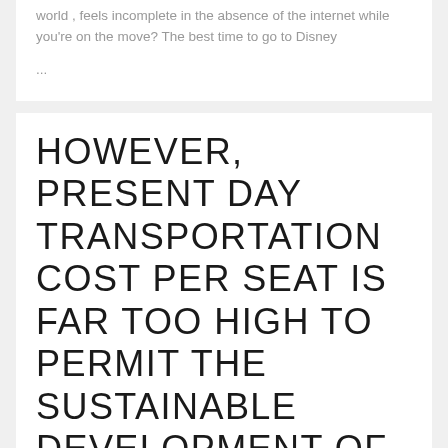world , feels incomplete in the absence of the internet while you're on the move? The best time to go to Disney
...
HOWEVER, PRESENT DAY TRANSPORTATION COST PER SEAT IS FAR TOO HIGH TO PERMIT THE SUSTAINABLE DEVELOPMENT OF SPACE TRAVEL.
POSTED ON 2019-04-21